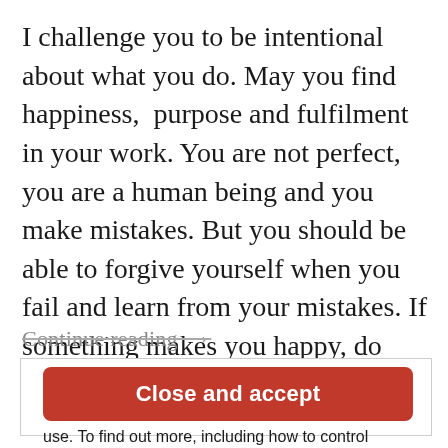I challenge you to be intentional about what you do. May you find happiness,  purpose and fulfilment in your work. You are not perfect, you are a human being and you make mistakes. But you should be able to forgive yourself when you fail and learn from your mistakes. If something makes you happy, do
Continue reading →
Privacy & Cookies: This site uses cookies. By continuing to use this website, you agree to their use. To find out more, including how to control cookies, see here: Cookie Policy.
Close and accept